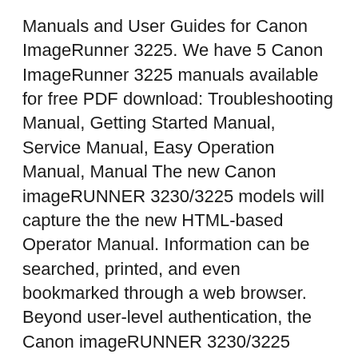Manuals and User Guides for Canon ImageRunner 3225. We have 5 Canon ImageRunner 3225 manuals available for free PDF download: Troubleshooting Manual, Getting Started Manual, Service Manual, Easy Operation Manual, Manual The new Canon imageRUNNER 3230/3225 models will capture the the new HTML-based Operator Manual. Information can be searched, printed, and even bookmarked through a web browser. Beyond user-level authentication, the Canon imageRUNNER 3230/3225 models can also restrict
6/11/2019B B· CANON IMAGERUNNER 3245 SERIES SERVICE DOWNLOAD PDF